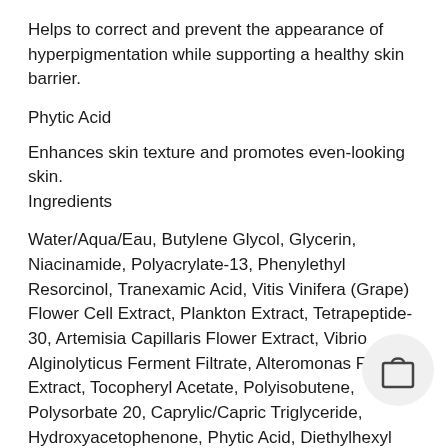Helps to correct and prevent the appearance of hyperpigmentation while supporting a healthy skin barrier.
Phytic Acid
Enhances skin texture and promotes even-looking skin.
Ingredients
Water/Aqua/Eau, Butylene Glycol, Glycerin, Niacinamide, Polyacrylate-13, Phenylethyl Resorcinol, Tranexamic Acid, Vitis Vinifera (Grape) Flower Cell Extract, Plankton Extract, Tetrapeptide-30, Artemisia Capillaris Flower Extract, Vibrio Alginolyticus Ferment Filtrate, Alteromonas Ferment Extract, Tocopheryl Acetate, Polyisobutene, Polysorbate 20, Caprylic/Capric Triglyceride, Hydroxyacetophenone, Phytic Acid, Diethylhexyl Syringylidenemalonate, Disodium EDTA, Ethylhexylglycerin, Phenoxyethanol